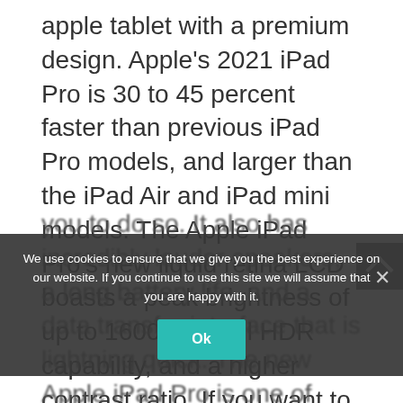apple tablet with a premium design. Apple's 2021 iPad Pro is 30 to 45 percent faster than previous iPad Pro models, and larger than the iPad Air and iPad mini models. The Apple iPad Pro's new liquid retina LCD boasts a peak brightness of up to 1600 nits, full HDR capability, and a higher contrast ratio. If you want to shoot, edit, export, or post-HDR photos or movies, this iPad Pro's new display allows you to do so. It also has incredibly louder speakers, a long battery life, and a data transfer interface that is lightning quick. The new Apple iPad Pro is one of
We use cookies to ensure that we give you the best experience on our website. If you continue to use this site we will assume that you are happy with it.